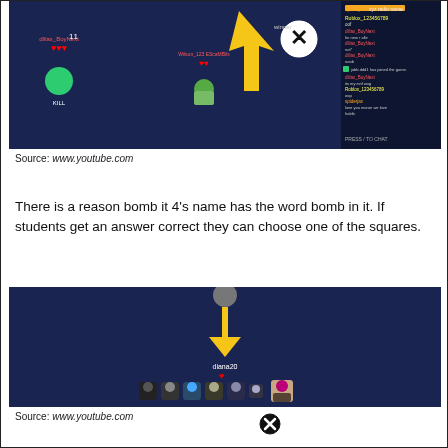[Figure (screenshot): Screenshot of a Roblox-style online game with dark blue background, player avatars, a large yellow arrow pointing down toward an X symbol, and a chat panel on the right side.]
Source: www.youtube.com
There is a reason bomb it 4's name has the word bomb in it. If students get an answer correct they can choose one of the squares.
[Figure (screenshot): Screenshot of a Roblox-style online game with dark blue background, a grey bomb at the top with a large yellow arrow pointing down toward a player character (diana20) with a red heart, and a row of player avatars at the bottom.]
Source: www.youtube.com